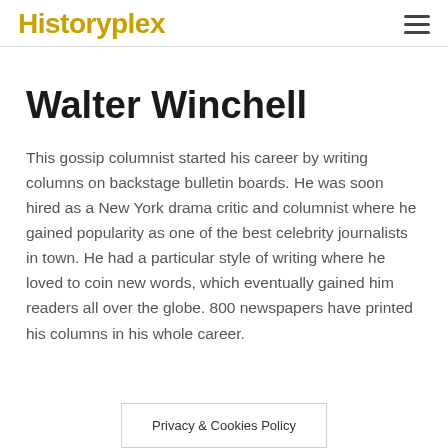Historyplex
Walter Winchell
This gossip columnist started his career by writing columns on backstage bulletin boards. He was soon hired as a New York drama critic and columnist where he gained popularity as one of the best celebrity journalists in town. He had a particular style of writing where he loved to coin new words, which eventually gained him readers all over the globe. 800 newspapers have printed his columns in his whole career.
Privacy & Cookies Policy